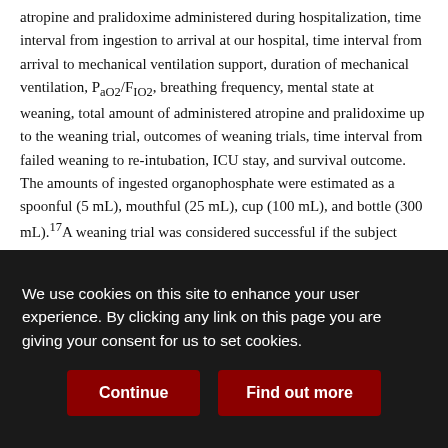atropine and pralidoxime administered during hospitalization, time interval from ingestion to arrival at our hospital, time interval from arrival to mechanical ventilation support, duration of mechanical ventilation, PaO2/FIO2, breathing frequency, mental state at weaning, total amount of administered atropine and pralidoxime up to the weaning trial, outcomes of weaning trials, time interval from failed weaning to re-intubation, ICU stay, and survival outcome. The amounts of ingested organophosphate were estimated as a spoonful (5 mL), mouthful (25 mL), cup (100 mL), and bottle (300 mL).17A weaning trial was considered successful if the subject remained extubated for 72 h.18 In all subjects, each weaning trial was considered to be a new episode.
The baseline subject characteristics are presented as frequency for
We use cookies on this site to enhance your user experience. By clicking any link on this page you are giving your consent for us to set cookies.